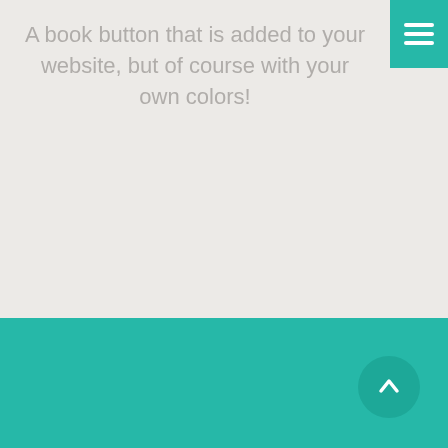A book button that is added to your website, but of course with your own colors!
[Figure (screenshot): A booking widget button with a teal square icon showing a stylized 'A' logo on the left and the word 'BOKA' in teal text on a white rounded rectangle.]